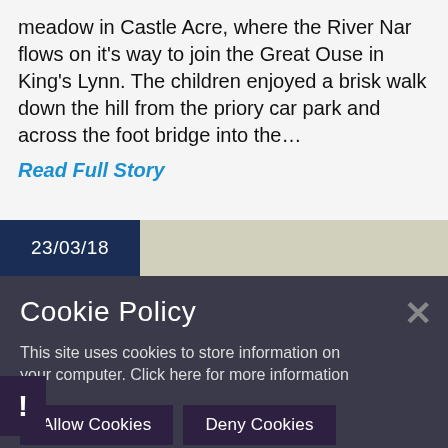meadow in Castle Acre, where the River Nar flows on it's way to join the Great Ouse in King's Lynn. The children enjoyed a brisk walk down the hill from the priory car park and across the foot bridge into the…
Read Full Story
23/03/18
Cookie Policy
This site uses cookies to store information on your computer. Click here for more information
Allow Cookies
Deny Cookies